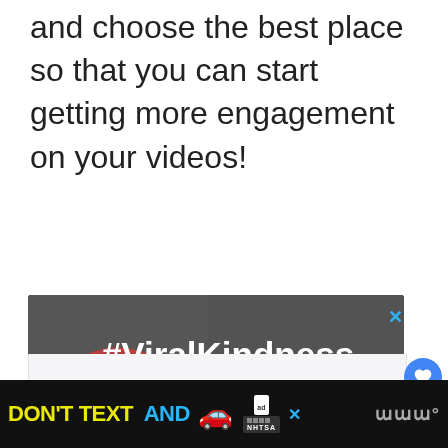and choose the best place so that you can start getting more engagement on your videos!
[Figure (screenshot): Advertisement banner for #ViralKindness with a rainbow chalk drawing on asphalt background, white bold text '#ViralKindness', and a close (X) button in the top right corner in blue.]
[Figure (screenshot): Bottom advertisement banner: black background with yellow bold text 'DON'T TEXT' and cyan bold text 'AND', a red car emoji, an 'ad' label with NHTSA logo squares, a close (X) button in blue, and a 'w°' logo on the right.]